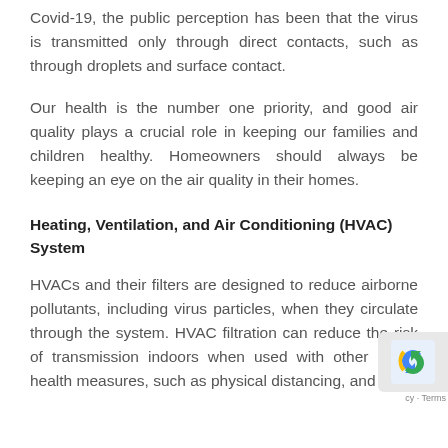Covid-19, the public perception has been that the virus is transmitted only through direct contacts, such as through droplets and surface contact.
Our health is the number one priority, and good air quality plays a crucial role in keeping our families and children healthy. Homeowners should always be keeping an eye on the air quality in their homes.
Heating, Ventilation, and Air Conditioning (HVAC) System
HVACs and their filters are designed to reduce airborne pollutants, including virus particles, when they circulate through the system. HVAC filtration can reduce the risk of transmission indoors when used with other public health measures, such as physical distancing, and